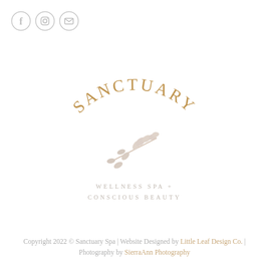[Figure (logo): Three social media icons: Facebook, Instagram, and email/envelope, arranged horizontally in the top-left corner, light gray outlined circles]
[Figure (logo): Sanctuary Wellness Spa + Conscious Beauty logo: arched golden/tan lettering spelling SANCTUARY around a botanical branch illustration, with subtitle WELLNESS SPA + CONSCIOUS BEAUTY in spaced light gray caps]
Copyright 2022 © Sanctuary Spa | Website Designed by Little Leaf Design Co. | Photography by SierraAnn Photography